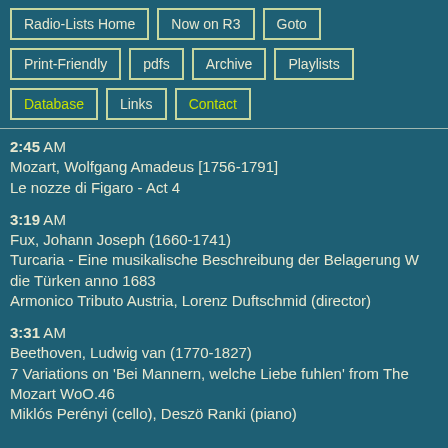Radio-Lists Home
Now on R3
Goto
Print-Friendly
pdfs
Archive
Playlists
Database
Links
Contact
2:45 AM
Mozart, Wolfgang Amadeus [1756-1791]
Le nozze di Figaro - Act 4
3:19 AM
Fux, Johann Joseph (1660-1741)
Turcaria - Eine musikalische Beschreibung der Belagerung W die Türken anno 1683
Armonico Tributo Austria, Lorenz Duftschmid (director)
3:31 AM
Beethoven, Ludwig van (1770-1827)
7 Variations on 'Bei Mannern, welche Liebe fuhlen' from The Mozart WoO.46
Miklós Perényi (cello), Deszö Ranki (piano)